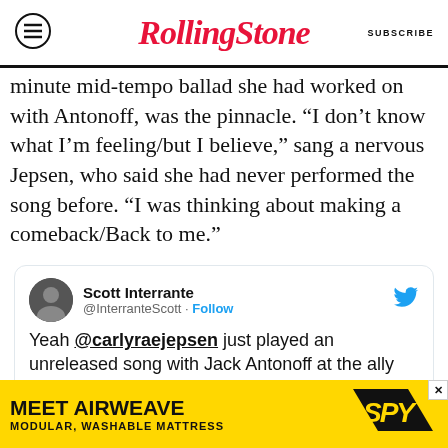RollingStone SUBSCRIBE
minute mid-tempo ballad she had worked on with Antonoff, was the pinnacle. “I don’t know what I’m feeling/but I believe,” sang a nervous Jepsen, who said she had never performed the song before. “I was thinking about making a comeback/Back to me.”
[Figure (screenshot): Embedded tweet from Scott Interrante (@InterranteScott) with Follow button and Twitter bird logo. Tweet text: Yeah @carlyraejepsen just played an unreleased song with Jack Antonoff at the ally coalition benefit shown. Includes a media preview showing COALITION branding with 'Watch on Twitter' text.]
[Figure (infographic): Advertisement banner: MEET AIRWEAVE / MODULAR, WASHABLE MATTRESS with SPY logo and yellow background. Includes close (X) button.]